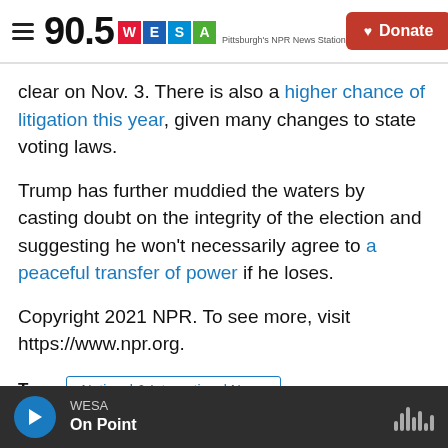90.5 WESA Pittsburgh's NPR News Station | Donate
clear on Nov. 3. There is also a higher chance of litigation this year, given many changes to state voting laws.
Trump has further muddied the waters by casting doubt on the integrity of the election and suggesting he won't necessarily agree to a peaceful transfer of power if he loses.
Copyright 2021 NPR. To see more, visit https://www.npr.org.
Tags  National & International News
WESA | On Point